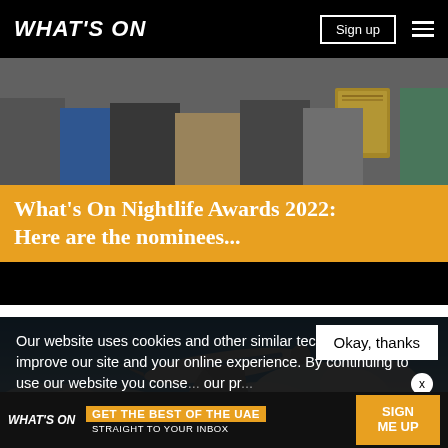WHAT'S ON | Sign up
[Figure (photo): Group of people at an awards ceremony, partially visible from waist down, holding trophies and plaques]
What's On Nightlife Awards 2022: Here are the nominees...
[Figure (photo): Commercial airplane viewed from below against a blue sky with white clouds]
Our website uses cookies and other similar technologies to improve our site and your online experience. By continuing to use our website you consent our pr...
Okay, thanks
[Figure (infographic): What's On promotional banner: GET THE BEST OF THE UAE STRAIGHT TO YOUR INBOX | SIGN ME UP]